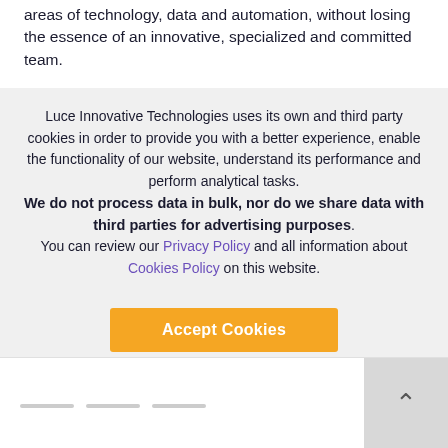areas of technology, data and automation, without losing the essence of an innovative, specialized and committed team.
Luce Innovative Technologies uses its own and third party cookies in order to provide you with a better experience, enable the functionality of our website, understand its performance and perform analytical tasks. We do not process data in bulk, nor do we share data with third parties for advertising purposes. You can review our Privacy Policy and all information about Cookies Policy on this website.
Accept Cookies
Cookie settings